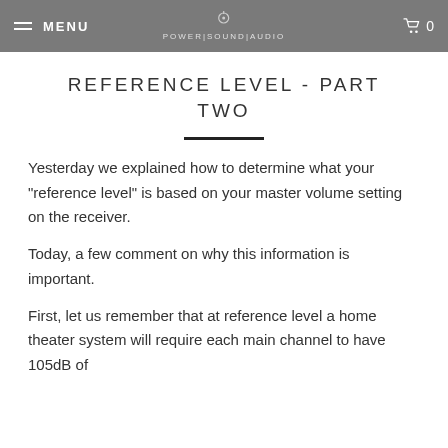MENU | POWER|SOUND|AUDIO | 0
REFERENCE LEVEL - PART TWO
Yesterday we explained how to determine what your "reference level" is based on your master volume setting on the receiver.
Today, a few comment on why this information is important.
First, let us remember that at reference level a home theater system will require each main channel to have 105dB of